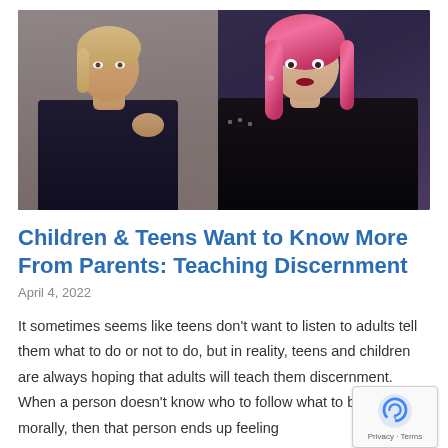[Figure (photo): Two women facing each other: one with blonde hair wearing a dark shirt, and one with bright pink hair wearing a black jacket, appearing to be in a tense interaction.]
Children & Teens Want to Know More From Parents: Teaching Discernment
April 4, 2022
It sometimes seems like teens don't want to listen to adults tell them what to do or not to do, but in reality, teens and children are always hoping that adults will teach them discernment. When a person doesn't know who to follow what to believe morally, then that person ends up feeling